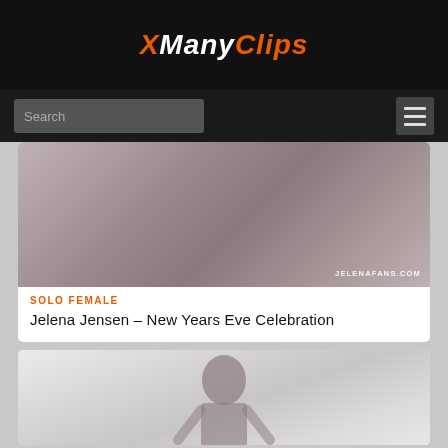XManyClips
Search
[Figure (photo): Photo thumbnail for video content showing a person lying down, with watermark JELENAFANS.COM]
SOLO FEMALE
Jelena Jensen – New Years Eve Celebration
[Figure (photo): Photo thumbnail for a second video content showing a person with dark hair facing forward in a light room]